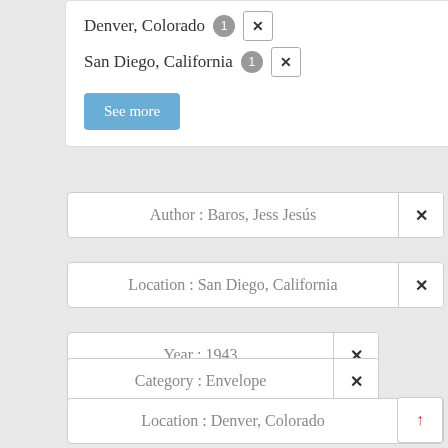Denver, Colorado 1 ×
San Diego, California 1 ×
See more
Author : Baros, Jess Jesús ×
Location : San Diego, California ×
Year : 1943 ×
Category : Envelope ×
Location : Denver, Colorado ×